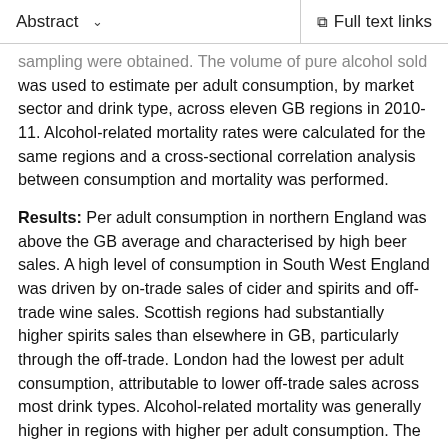Abstract   ∨     Full text links
sampling were obtained. The volume of pure alcohol sold was used to estimate per adult consumption, by market sector and drink type, across eleven GB regions in 2010-11. Alcohol-related mortality rates were calculated for the same regions and a cross-sectional correlation analysis between consumption and mortality was performed.
Results: Per adult consumption in northern England was above the GB average and characterised by high beer sales. A high level of consumption in South West England was driven by on-trade sales of cider and spirits and off-trade wine sales. Scottish regions had substantially higher spirits sales than elsewhere in GB, particularly through the off-trade. London had the lowest per adult consumption, attributable to lower off-trade sales across most drink types. Alcohol-related mortality was generally higher in regions with higher per adult consumption. The relationship was weakened by the South West and